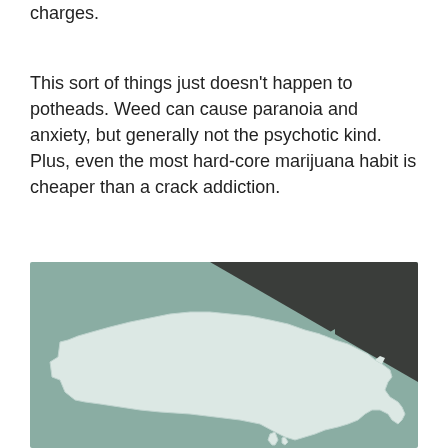charges.
This sort of things just doesn’t happen to potheads. Weed can cause paranoia and anxiety, but generally not the psychotic kind. Plus, even the most hard-core marijuana habit is cheaper than a crack addiction.
[Figure (map): Illustrated map showing the outline of the contiguous United States rendered in white/light color on a muted teal-green background, with a dark gray diagonal band in the upper right corner.]